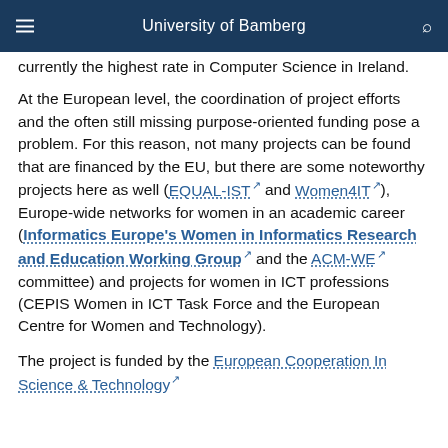University of Bamberg
currently the highest rate in Computer Science in Ireland.
At the European level, the coordination of project efforts and the often still missing purpose-oriented funding pose a problem. For this reason, not many projects can be found that are financed by the EU, but there are some noteworthy projects here as well (EQUAL-IST and Women4IT), Europe-wide networks for women in an academic career (Informatics Europe's Women in Informatics Research and Education Working Group and the ACM-WE committee) and projects for women in ICT professions (CEPIS Women in ICT Task Force and the European Centre for Women and Technology).
The project is funded by the European Cooperation In Science & Technology